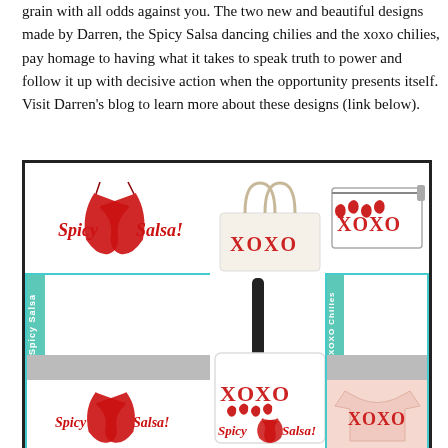grain with all odds against you. The two new and beautiful designs made by Darren, the Spicy Salsa dancing chilies and the xoxo chilies, pay homage to having what it takes to speak truth to power and follow it up with decisive action when the opportunity presents itself. Visit Darren's blog to learn more about these designs (link below).
[Figure (illustration): A product showcase image in a bordered frame showing two chili pepper designs: 'Spicy Salsa' (dancing red chilies) and 'XOXO' (chilies forming XO shapes), displayed on various merchandise including tote bags, a clutch bag, a t-shirt, and product cards with teal and gray color bands.]